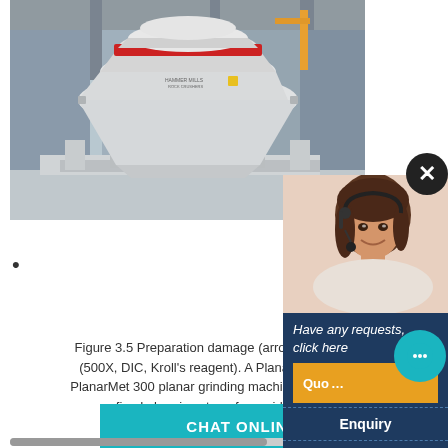[Figure (photo): Industrial cone crusher machine in a factory/warehouse setting. Large white and red crusher equipment on a concrete floor with steel structural components in the background.]
[Figure (photo): Customer service representative woman with headset smiling, overlaid on dark navy popup panel with text 'Have any requests, click here', a Quote button, Enquiry section, and email limingjlmofen@sina.com]
Grinding and Polishing G Buehler
Figure 3.5 Preparation damage (arrows) in annealed (500X, DIC, Kroll's reagent). A Planar grinding ma PlanarMet 300 planar grinding machine shown in Fig fixed abrasive stone for rapid sample
CHAT ONLINE